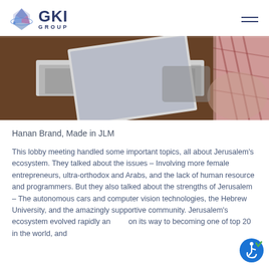GKI GROUP
[Figure (photo): A person sitting at a dark wooden desk with a laptop open, viewed from the side. The person is wearing a plaid shirt.]
Hanan Brand, Made in JLM
This lobby meeting handled some important topics, all about Jerusalem's ecosystem. They talked about the issues – Involving more female entrepreneurs, ultra-orthodox and Arabs, and the lack of human resource and programmers. But they also talked about the strengths of Jerusalem – The autonomous cars and computer vision technologies, the Hebrew University, and the amazingly supportive community. Jerusalem's ecosystem evolved rapidly and on its way to becoming one of top 20 in the world, and